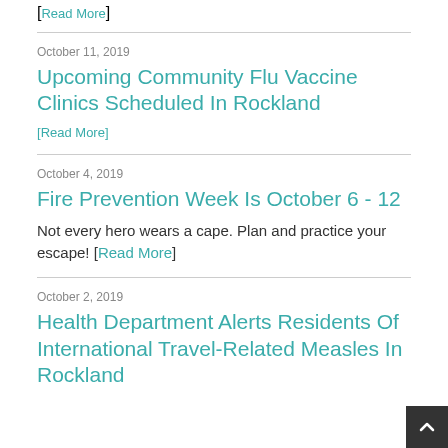[Read More]
October 11, 2019
Upcoming Community Flu Vaccine Clinics Scheduled In Rockland
[Read More]
October 4, 2019
Fire Prevention Week Is October 6 - 12
Not every hero wears a cape. Plan and practice your escape! [Read More]
October 2, 2019
Health Department Alerts Residents Of International Travel-Related Measles In Rockland